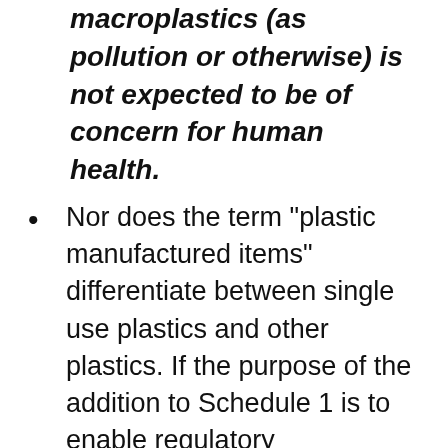macroplastics (as pollution or otherwise) is not expected to be of concern for human health.
Nor does the term "plastic manufactured items" differentiate between single use plastics and other plastics. If the purpose of the addition to Schedule 1 is to enable regulatory interventions on the part of ECCC, there is probably need to pause until such time as there is an "integrated management approach" completed, supported by all levels of government in Canada and ready for implementation